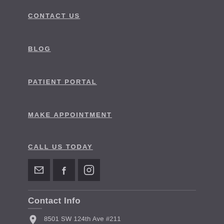CONTACT US
BLOG
PATIENT PORTAL
MAKE APPOINTMENT
CALL US TODAY
[Figure (infographic): Three social media icon buttons: email (envelope), Facebook (f), Instagram (camera)]
Contact Info
8501 SW 124th Ave #211
Miami, FL 33183